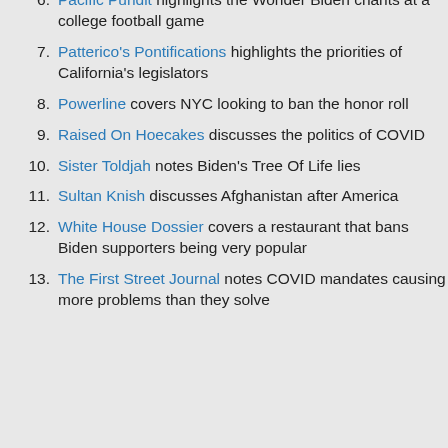Pacific Pundit highlights the Wonder Biden chants at a college football game
Patterico's Pontifications highlights the priorities of California's legislators
Powerline covers NYC looking to ban the honor roll
Raised On Hoecakes discusses the politics of COVID
Sister Toldjah notes Biden's Tree Of Life lies
Sultan Knish discusses Afghanistan after America
White House Dossier covers a restaurant that bans Biden supporters being very popular
The First Street Journal notes COVID mandates causing more problems than they solve